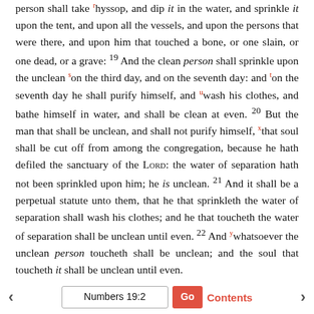person shall take hyssop, and dip it in the water, and sprinkle it upon the tent, and upon all the vessels, and upon the persons that were there, and upon him that touched a bone, or one slain, or one dead, or a grave: 19 And the clean person shall sprinkle upon the unclean on the third day, and on the seventh day: and on the seventh day he shall purify himself, and wash his clothes, and bathe himself in water, and shall be clean at even. 20 But the man that shall be unclean, and shall not purify himself, that soul shall be cut off from among the congregation, because he hath defiled the sanctuary of the LORD: the water of separation hath not been sprinkled upon him; he is unclean. 21 And it shall be a perpetual statute unto them, that he that sprinkleth the water of separation shall wash his clothes; and he that toucheth the water of separation shall be unclean until even. 22 And whatsoever the unclean person toucheth shall be unclean; and the soul that toucheth it shall be unclean until even.
Numbers 19:2  Go  Contents